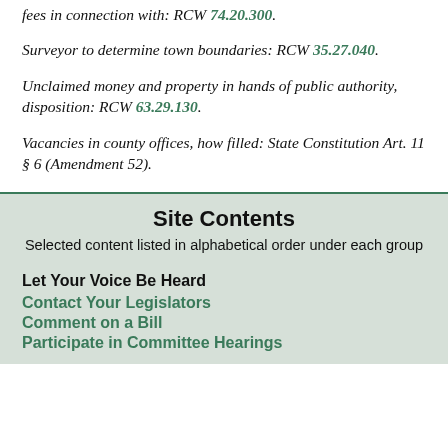fees in connection with: RCW 74.20.300.
Surveyor to determine town boundaries: RCW 35.27.040.
Unclaimed money and property in hands of public authority, disposition: RCW 63.29.130.
Vacancies in county offices, how filled: State Constitution Art. 11 § 6 (Amendment 52).
Site Contents
Selected content listed in alphabetical order under each group
Let Your Voice Be Heard
Contact Your Legislators
Comment on a Bill
Participate in Committee Hearings